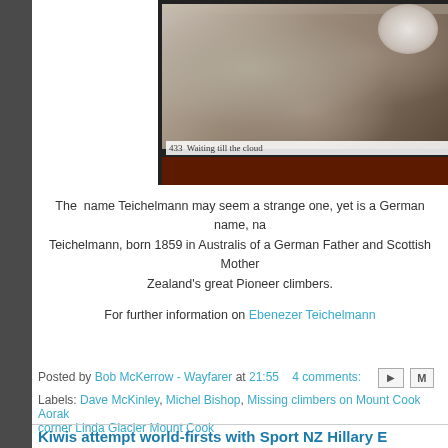[Figure (photo): Historical black and white photograph of a mountain climber on rocky terrain, with caption '433 Waiting till the cloud...' at bottom]
The  name Teichelmann may seem a strange one, yet is a German name, na... Teichelmann, born 1859 in Australis of a German Father and Scottish Mother... Zealand's great Pioneer climbers.
For further information on Ebenezer Teichelmann
Posted by Bob McKerrow - Wayfarer at 21:55   4 comments:
Labels: Dave McKinley, Michel Bishop, Missing climbers on Mount Cook Aorak... corner Linda Glacier Mount Cook
Kiwis attempt world-firsts with Sport NZ Hillary B...